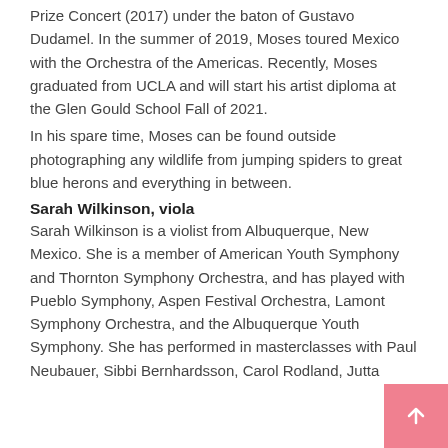Prize Concert (2017) under the baton of Gustavo Dudamel. In the summer of 2019, Moses toured Mexico with the Orchestra of the Americas. Recently, Moses graduated from UCLA and will start his artist diploma at the Glen Gould School Fall of 2021.
In his spare time, Moses can be found outside photographing any wildlife from jumping spiders to great blue herons and everything in between.
Sarah Wilkinson, viola
Sarah Wilkinson is a violist from Albuquerque, New Mexico. She is a member of American Youth Symphony and Thornton Symphony Orchestra, and has played with Pueblo Symphony, Aspen Festival Orchestra, Lamont Symphony Orchestra, and the Albuquerque Youth Symphony. She has performed in masterclasses with Paul Neubauer, Sibbi Bernhardsson, Carol Rodland, Jutta